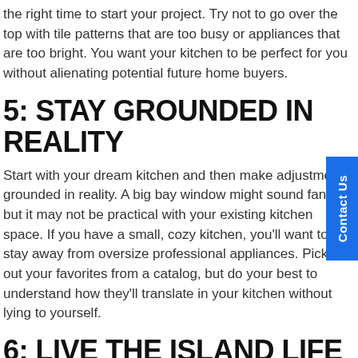the right time to start your project. Try not to go over the top with tile patterns that are too busy or appliances that are too bright. You want your kitchen to be perfect for you without alienating potential future home buyers.
5: STAY GROUNDED IN REALITY
Start with your dream kitchen and then make adjustments grounded in reality. A big bay window might sound fantastic but it may not be practical with your existing kitchen space. If you have a small, cozy kitchen, you'll want to stay away from oversize professional appliances. Pick out your favorites from a catalog, but do your best to understand how they'll translate in your kitchen without lying to yourself.
6: LIVE THE ISLAND LIFE
Kitchen islands are more popular than ever before and for